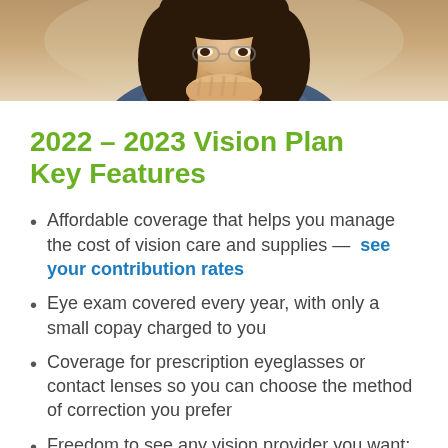[Figure (photo): Photo of a young girl with dark hair smiling, wearing a denim jacket, resting her chin on her hand.]
2022 – 2023 Vision Plan Key Features
Affordable coverage that helps you manage the cost of vision care and supplies — see your contribution rates
Eye exam covered every year, with only a small copay charged to you
Coverage for prescription eyeglasses or contact lenses so you can choose the method of correction you prefer
Freedom to see any vision provider you want; however, you will get the